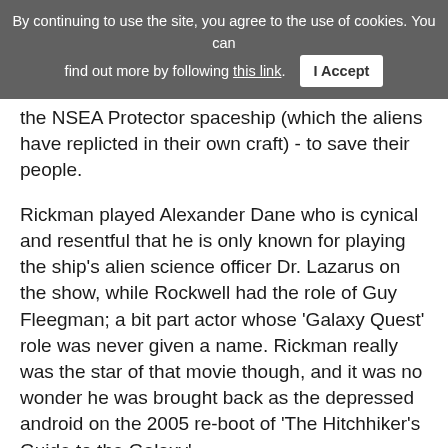By continuing to use the site, you agree to the use of cookies. You can find out more by following this link. I Accept
the NSEA Protector spaceship (which the aliens have replicted in their own craft) - to save their people.
Rickman played Alexander Dane who is cynical and resentful that he is only known for playing the ship's alien science officer Dr. Lazarus on the show, while Rockwell had the role of Guy Fleegman; a bit part actor whose 'Galaxy Quest' role was never given a name. Rickman really was the star of that movie though, and it was no wonder he was brought back as the depressed android on the 2005 re-boot of 'The Hitchhiker's Guide to the Galaxy'.
More: Funniest Alan Rickman moments
Rickman, who passed away at the age of 69 from pancreatic cancer back in January this year, even